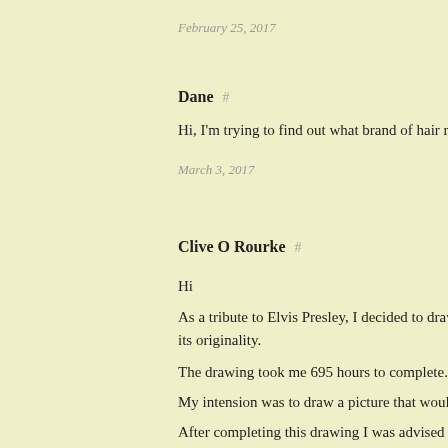February 25, 2017
Dane #
Hi, I'm trying to find out what brand of hair rinse El
March 3, 2017
Clive O Rourke #
Hi
As a tribute to Elvis Presley, I decided to draw a very... its originality.
The drawing took me 695 hours to complete.
My intension was to draw a picture that would be a
After completing this drawing I was advised to sen